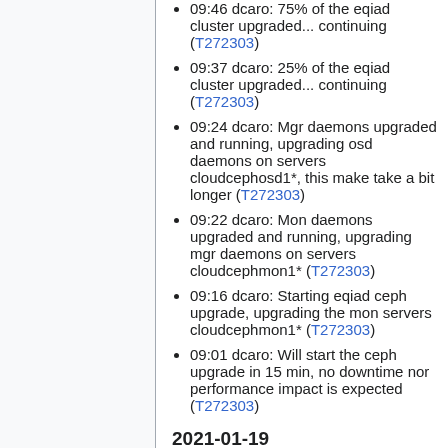09:46 dcaro: 75% of the eqiad cluster upgraded... continuing (T272303)
09:37 dcaro: 25% of the eqiad cluster upgraded... continuing (T272303)
09:24 dcaro: Mgr daemons upgraded and running, upgrading osd daemons on servers cloudcephosd1*, this make take a bit longer (T272303)
09:22 dcaro: Mon daemons upgraded and running, upgrading mgr daemons on servers cloudcephmon1* (T272303)
09:16 dcaro: Starting eqiad ceph upgrade, upgrading the mon servers cloudcephmon1* (T272303)
09:01 dcaro: Will start the ceph upgrade in 15 min, no downtime nor performance impact is expected (T272303)
2021-01-19